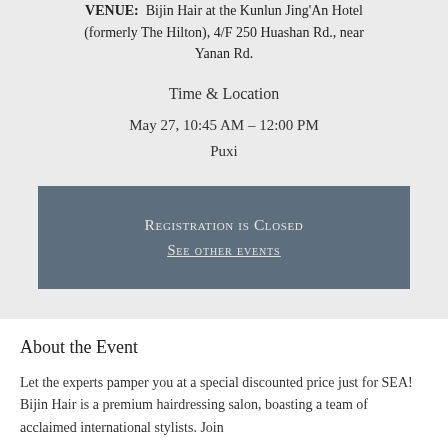VENUE: Bijin Hair at the Kunlun Jing'An Hotel (formerly The Hilton), 4/F 250 Huashan Rd., near Yanan Rd.
Time & Location
May 27, 10:45 AM – 12:00 PM
Puxi
Registration is Closed
See other events
About the Event
Let the experts pamper you at a special discounted price just for SEA! Bijin Hair is a premium hairdressing salon, boasting a team of acclaimed international stylists. Join